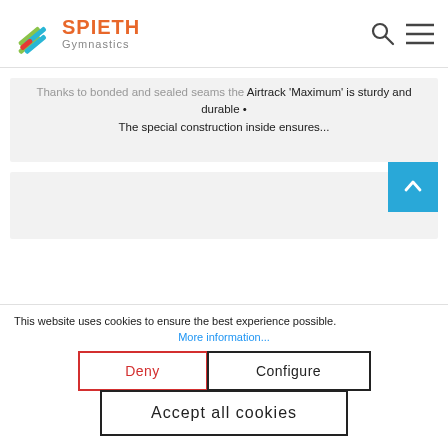SPIETH Gymnastics
Airtrack 'Maximum' is sturdy and durable • The special construction inside ensures...
This website uses cookies to ensure the best experience possible.
More information...
Deny | Configure | Accept all cookies